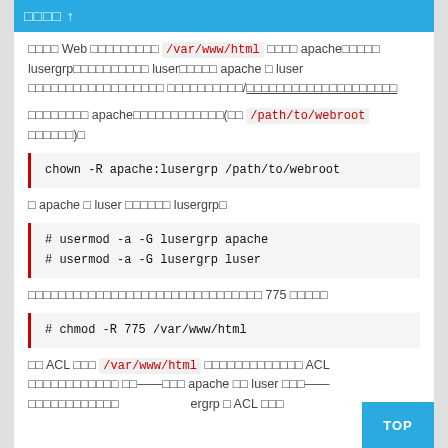□□□□ ↑
□□□□ Web □□□□□□□□□ /var/www/html □□□□ apache□□□□□ lusergrp□□□□□□□□□□ luser□□□□□ apache □ luser □□□□□□□□□□□□□□□□□□ □□□□□□□□□□/□□□□□□□□□□□□□□□□□□□□
□□□□□□□□ apache□□□□□□□□□□□□(□□ /path/to/webroot □□□□□□)□
□ apache □ luser □□□□□□ lusergrp□
□□□□□□□□□□□□□□□□□□□□□□□□□□□□□□□ 775 □□□□□
□□ ACL □□□ /var/www/html □□□□□□□□□□□□□ ACL □□□□□□□□□□□□ □□——□□□ apache □□ luser □□□——□□□□□□□□□□□□ □ergrp □ ACL □□□